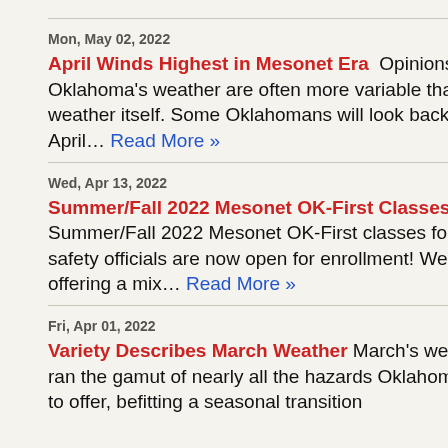Mon, May 02, 2022 — April Winds Highest in Mesonet Era — Opinions on Oklahoma's weather are often more variable than the weather itself. Some Oklahomans will look back on April… Read More »
Wed, Apr 13, 2022 — Summer/Fall 2022 Mesonet OK-First Classes — Summer/Fall 2022 Mesonet OK-First classes for public safety officials are now open for enrollment! We will be offering a mix… Read More »
Fri, Apr 01, 2022 — Variety Describes March Weather — March's weather ran the gamut of nearly all the hazards Oklahoma has to offer, befitting a seasonal transition